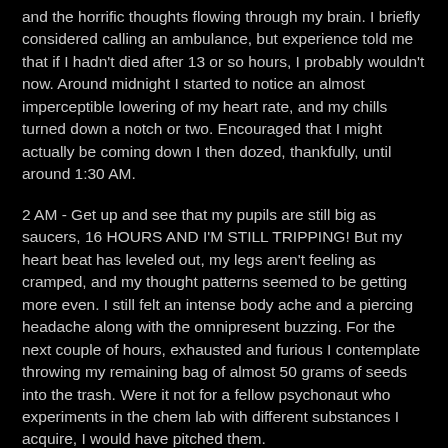and the horrific thoughts flowing through my brain. I briefly considered calling an ambulance, but experience told me that if I hadn't died after 13 or so hours, I probably wouldn't now. Around midnight I started to notice an almost imperceptible lowering of my heart rate, and my chills turned down a notch or two. Encouraged that I might actually be coming down I then dozed, thankfully, until around 1:30 AM.
2 AM - Get up and see that my pupils are still big as saucers, 16 HOURS AND I'M STILL TRIPPING! But my heart beat has leveled out, my legs aren't feeling as cramped, and my thought patterns seemed to be getting more even. I still felt an intense body ache and a piercing headache along with the omnipresent buzzing. For the next couple of hours, exhausted and furious I contemplate throwing my remaining bag of almost 50 grams of seeds into the trash. Were it not for a fellow psychonaut who experiments in the chem lab with different substances I acquire, I would have pitched them.